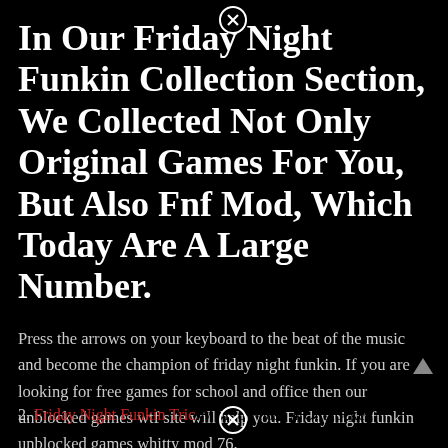In Our Friday Night Funkin Collection Section, We Collected Not Only Original Games For You, But Also Fnf Mod, Which Today Are A Large Number.
Press the arrows on your keyboard to the beat of the music and become the champion of friday night funkin. If you are looking for free games for school and office then our unblocked games wtf site will help you. Friday night funkin unblocked games whitty mod 76.
Related Posts:
1. Unblocked Rhythm Games Friday Night Funkin
2. Friday Night Funkin Tricky Mod Phase 4 Unblocked